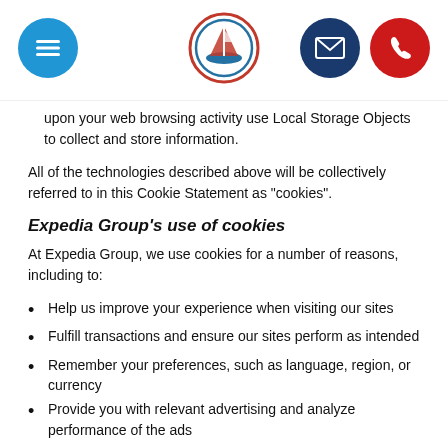[Navigation header with menu, logo, email, and phone buttons]
upon your web browsing activity use Local Storage Objects to collect and store information.
All of the technologies described above will be collectively referred to in this Cookie Statement as "cookies".
Expedia Group's use of cookies
At Expedia Group, we use cookies for a number of reasons, including to:
Help us improve your experience when visiting our sites
Fulfill transactions and ensure our sites perform as intended
Remember your preferences, such as language, region, or currency
Provide you with relevant advertising and analyze performance of the ads
Enable you to return to previous travel searches
Identify errors on our sites
Help with data protection and potentially detect and investigate